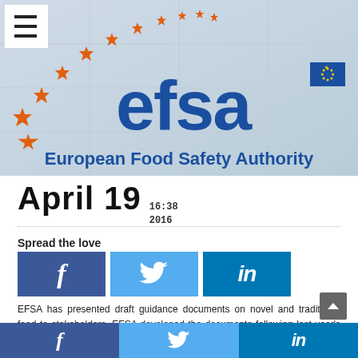[Figure (photo): EFSA (European Food Safety Authority) building sign with orange stars arc on upper left and blue EFSA logo with EU flag on the right, subtitle 'European Food Safety Authority' in blue below]
April 19  16:38  2016
Spread the love
[Figure (infographic): Three social share buttons: Facebook (dark blue, f icon), Twitter (light blue, bird icon), LinkedIn (blue, in icon)]
EFSA has presented draft guidance documents on novel and traditional food to stakeholders. EFSA developed the documents following last year's adoption of a new European regulation on novel
[Figure (infographic): Bottom bar with three social media icons: Facebook (f), Twitter (bird), LinkedIn (in) in their respective brand colors]